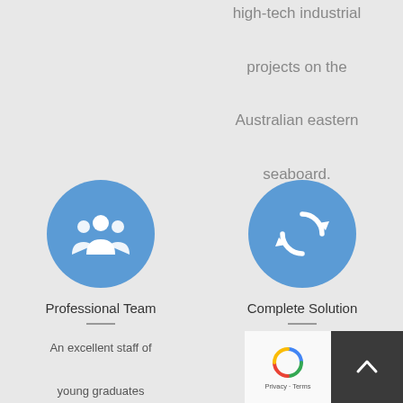high-tech industrial projects on the Australian eastern seaboard.
[Figure (illustration): Blue circle icon with white people/team silhouette]
Professional Team
An excellent staff of young graduates supports the senior
[Figure (illustration): Blue circle icon with white refresh/sync arrows]
Complete Solution
Ours is a holistic property development process that takes a